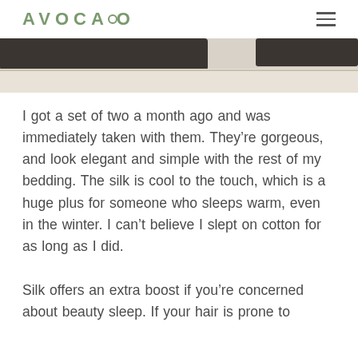AVOCADO
[Figure (photo): Partial view of a bed with dark pillow and light bedding, cropped at top of page]
I got a set of two a month ago and was immediately taken with them. They’re gorgeous, and look elegant and simple with the rest of my bedding. The silk is cool to the touch, which is a huge plus for someone who sleeps warm, even in the winter. I can’t believe I slept on cotton for as long as I did.
Silk offers an extra boost if you’re concerned about beauty sleep. If your hair is prone to